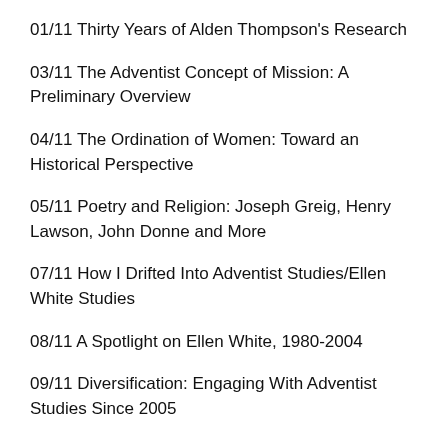01/11 Thirty Years of Alden Thompson's Research
03/11 The Adventist Concept of Mission: A Preliminary Overview
04/11 The Ordination of Women: Toward an Historical Perspective
05/11 Poetry and Religion: Joseph Greig, Henry Lawson, John Donne and More
07/11 How I Drifted Into Adventist Studies/Ellen White Studies
08/11 A Spotlight on Ellen White, 1980-2004
09/11 Diversification: Engaging With Adventist Studies Since 2005